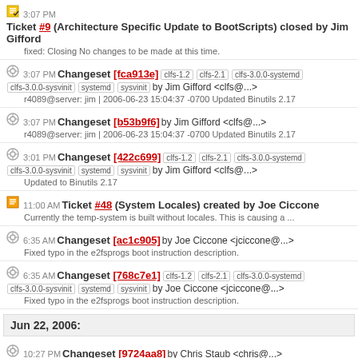3:07 PM Ticket #9 (Architecture Specific Update to BootScripts) closed by Jim Gifford
fixed: Closing No changes to be made at this time.
3:07 PM Changeset [fca913e] clfs-1.2 clfs-2.1 clfs-3.0.0-systemd clfs-3.0.0-sysvinit systemd sysvinit by Jim Gifford <clfs@...>
r4089@server: jim | 2006-06-23 15:04:37 -0700 Updated Binutils 2.17
3:07 PM Changeset [b53b9f6] by Jim Gifford <clfs@...>
r4089@server: jim | 2006-06-23 15:04:37 -0700 Updated Binutils 2.17
3:01 PM Changeset [422c699] clfs-1.2 clfs-2.1 clfs-3.0.0-systemd clfs-3.0.0-sysvinit systemd sysvinit by Jim Gifford <clfs@...>
Updated to Binutils 2.17
11:00 AM Ticket #48 (System Locales) created by Joe Ciccone
Currently the temp-system is built without locales. This is causing a ...
6:35 AM Changeset [ac1c905] by Joe Ciccone <jciccone@...>
Fixed typo in the e2fsprogs boot instruction description.
6:35 AM Changeset [768c7e1] clfs-1.2 clfs-2.1 clfs-3.0.0-systemd clfs-3.0.0-sysvinit systemd sysvinit by Joe Ciccone <jciccone@...>
Fixed typo in the e2fsprogs boot instruction description.
Jun 22, 2006:
10:27 PM Changeset [9724aa8] by Chris Staub <chris@...>